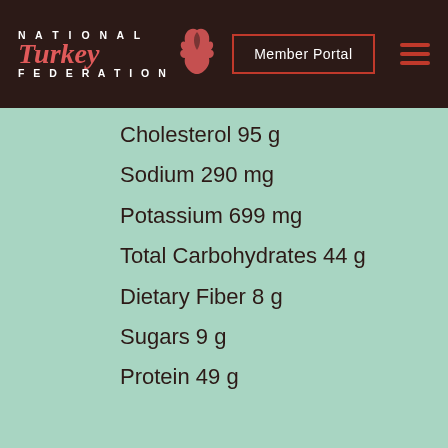NATIONAL Turkey FEDERATION | Member Portal
Cholesterol 95 g
Sodium 290 mg
Potassium 699 mg
Total Carbohydrates 44 g
Dietary Fiber 8 g
Sugars 9 g
Protein 49 g